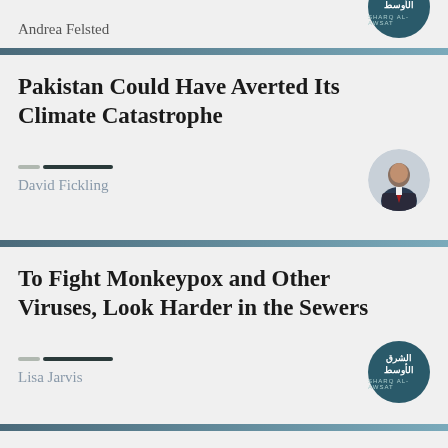Andrea Felsted
Pakistan Could Have Averted Its Climate Catastrophe
David Fickling
To Fight Monkeypox and Other Viruses, Look Harder in the Sewers
Lisa Jarvis
Normalization with the Syrian Regime Didn't Yield any Results